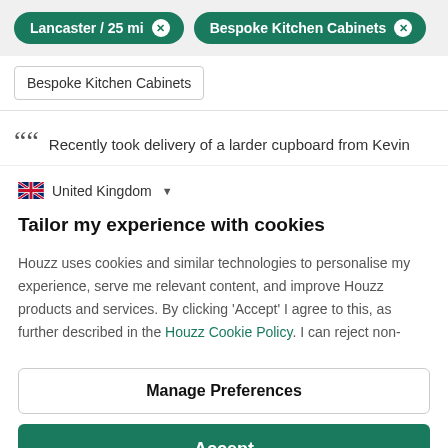Lancaster / 25 mi  Bespoke Kitchen Cabinets
Bespoke Kitchen Cabinets
Recently took delivery of a larder cupboard from Kevin
United Kingdom
Tailor my experience with cookies
Houzz uses cookies and similar technologies to personalise my experience, serve me relevant content, and improve Houzz products and services. By clicking 'Accept' I agree to this, as further described in the Houzz Cookie Policy. I can reject non-
Manage Preferences
Accept